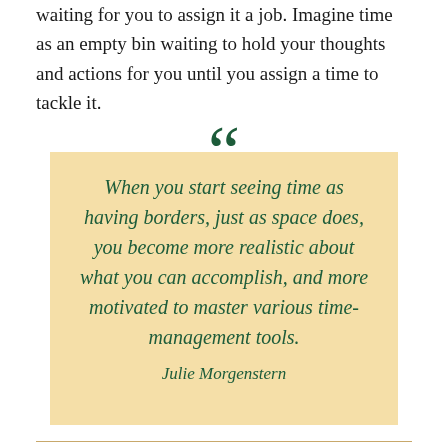waiting for you to assign it a job. Imagine time as an empty bin waiting to hold your thoughts and actions for you until you assign a time to tackle it.
When you start seeing time as having borders, just as space does, you become more realistic about what you can accomplish, and more motivated to master various time-management tools.
— Julie Morgenstern